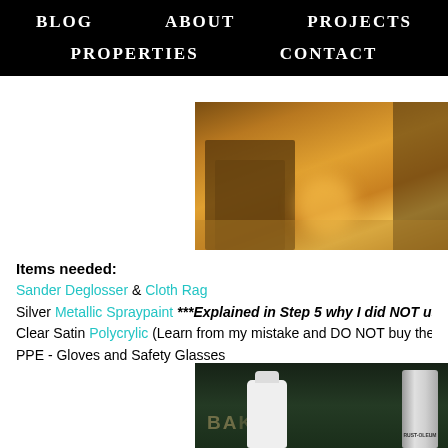BLOG   ABOUT   PROJECTS   PROPERTIES   CONTACT
[Figure (photo): Photo of a wooden dresser/nightstand on hardwood floor with warm sunlight]
Items needed:
Sander Deglosser & Cloth Rag
Silver Metallic Spraypaint ***Explained in Step 5 why I did NOT use Sil
Clear Satin Polycrylic (Learn from my mistake and DO NOT buy the sp
PPE - Gloves and Safety Glasses
[Figure (photo): Photo of paint products including a white bottle and Rust-Oleum spray can on dark green foliage background]